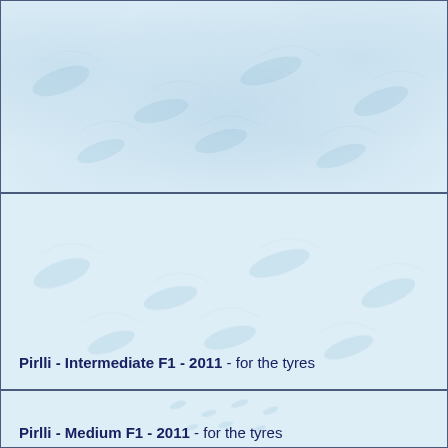[Figure (other): Light blue textured background section, top portion of page (no text visible in this section)]
Pirlli - Intermediate F1 - 2011 - for the tyres
[Figure (other): Light blue textured background section, bottom portion of page]
Pirlli - Medium F1 - 2011 - for the tyres